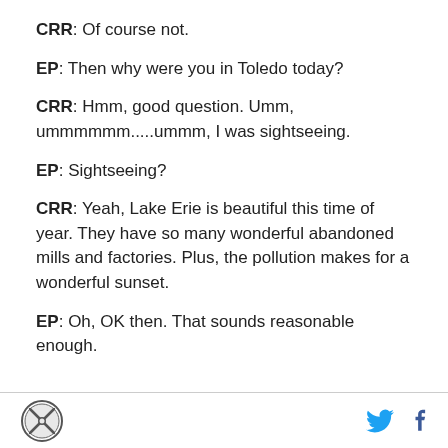CRR: Of course not.
EP: Then why were you in Toledo today?
CRR: Hmm, good question. Umm, ummmmmm.....ummm, I was sightseeing.
EP: Sightseeing?
CRR: Yeah, Lake Erie is beautiful this time of year. They have so many wonderful abandoned mills and factories. Plus, the pollution makes for a wonderful sunset.
EP: Oh, OK then. That sounds reasonable enough.
[logo] [twitter] [facebook]